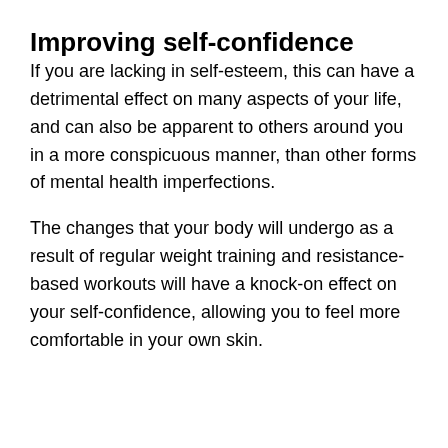Improving self-confidence
If you are lacking in self-esteem, this can have a detrimental effect on many aspects of your life, and can also be apparent to others around you in a more conspicuous manner, than other forms of mental health imperfections.
The changes that your body will undergo as a result of regular weight training and resistance-based workouts will have a knock-on effect on your self-confidence, allowing you to feel more comfortable in your own skin.